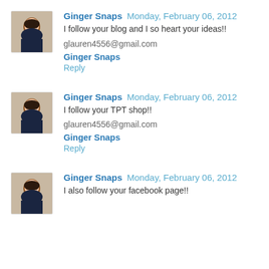[Figure (photo): Avatar photo of Ginger Snaps - woman with dark hair]
Ginger Snaps Monday, February 06, 2012
I follow your blog and I so heart your ideas!!

glauren4556@gmail.com

Ginger Snaps

Reply
[Figure (photo): Avatar photo of Ginger Snaps - woman with dark hair]
Ginger Snaps Monday, February 06, 2012
I follow your TPT shop!!

glauren4556@gmail.com

Ginger Snaps

Reply
[Figure (photo): Avatar photo of Ginger Snaps - woman with dark hair]
Ginger Snaps Monday, February 06, 2012
I also follow your facebook page!!